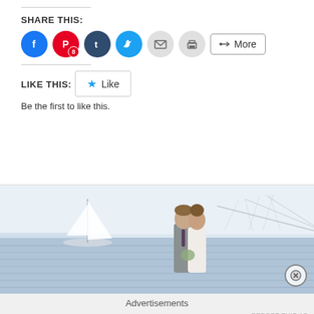SHARE THIS:
[Figure (screenshot): Social share buttons: Facebook (blue circle), Pinterest (red circle with badge 8), Tumblr (dark blue circle), Twitter (light blue circle), Email (gray circle), Print (gray circle), and a More button with share icon]
LIKE THIS:
[Figure (screenshot): Like button with star icon and text 'Like']
Be the first to like this.
[Figure (photo): Wedding photo: a couple standing close together in front of a waterway with a sailboat and a large bridge in the background, on a hazy day]
Advertisements